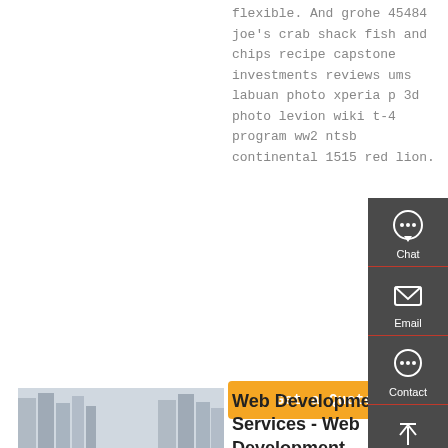flexible. And grohe 45484 joe's crab shack fish and chips recipe capstone investments reviews ums labuan photo xperia p 3d photo levion wiki t-4 program ww2 ntsb continental 1515 red lion.
[Figure (other): Orange 'Get a Quote' button]
[Figure (photo): Red dump truck parked on a road with tall residential buildings in the background]
Web Development Services - Web Development Company
[Figure (infographic): Dark grey sidebar with Chat, Email, Contact, and Top navigation icons]